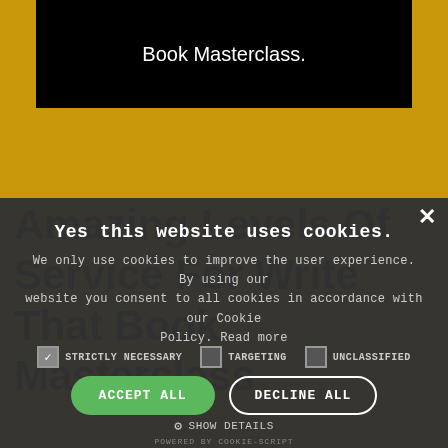Book Masterclass.
Amazing Levels Of Service For Write That Book Masterclass
Yes this website uses cookies.
We only use cookies to improve the user experience. By using our website you consent to all cookies in accordance with our Cookie Policy. Read more
STRICTLY NECESSARY
TARGETING
UNCLASSIFIED
ACCEPT ALL
DECLINE ALL
SHOW DETAILS
POWERED BY COOKIE-SCRIPT